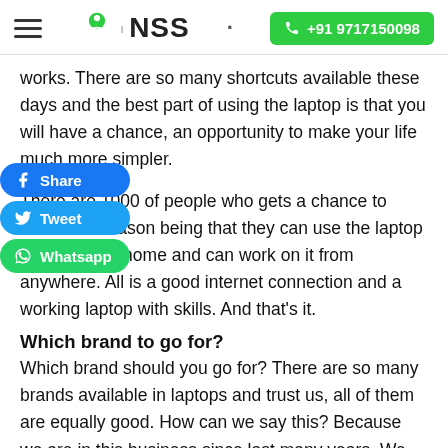☰  | NSS  ·  +91 9717150098
works. There are so many shortcuts available these days and the best part of using the laptop is that you will have a chance, an opportunity to make your life much more simpler.
There are 1000 of people who gets a chance to work from reason being that they can use the laptop through their home and can work on it from anywhere. All is a good internet connection and a working laptop with skills. And that's it.
Which brand to go for?
Which brand should you go for? There are so many brands available in laptops and trust us, all of them are equally good. How can we say this? Because we are in this business since last many years. We are expert in repairing the laptop irrespective of its brand. We are using many brands such as Sony laptops, Acer laptops, Asus laptops, Apple Mac Book, Lenovo laptops and even HP ones as